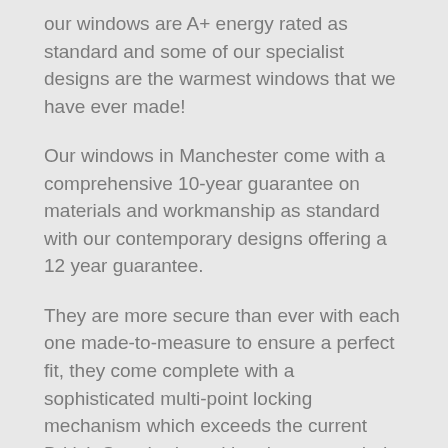our windows are A+ energy rated as standard and some of our specialist designs are the warmest windows that we have ever made!
Our windows in Manchester come with a comprehensive 10-year guarantee on materials and workmanship as standard with our contemporary designs offering a 12 year guarantee.
They are more secure than ever with each one made-to-measure to ensure a perfect fit, they come complete with a sophisticated multi-point locking mechanism which exceeds the current British Standards and has been awarded ‘Secured by Design’ an official police security initiative award that is only awarded to products that pass stringent testing.